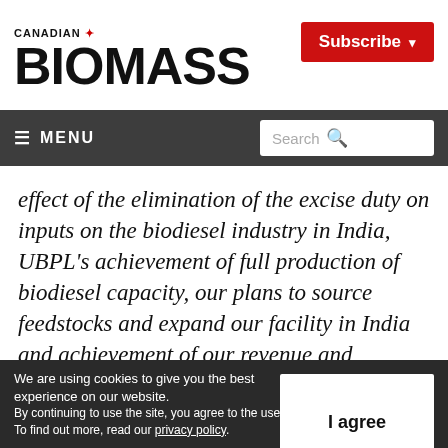CANADIAN BIOMASS
Subscribe
≡ MENU  Search
effect of the elimination of the excise duty on inputs on the biodiesel industry in India, UBPL's achievement of full production of biodiesel capacity, our plans to source feedstocks and expand our facility in India and achievement of our revenue and profitability goals. Words or
We are using cookies to give you the best experience on our website. By continuing to use the site, you agree to the use of cookies. To find out more, read our privacy policy.
I agree